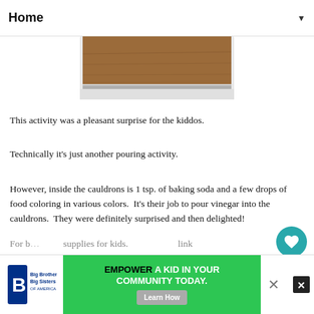Home ▼
[Figure (photo): Partial photo showing bottom edge of a wooden tray with a metal rim border]
This activity was a pleasant surprise for the kiddos.
Technically it's just another pouring activity.
However, inside the cauldrons is 1 tsp. of baking soda and a few drops of food coloring in various colors.  It's their job to pour vinegar into the cauldrons.  They were definitely surprised and then delighted!
We wish you a very Happy and Safe Halloween, for all those celebrating!
For b... supplies for kids. ...link
[Figure (other): Advertisement banner: Big Brothers Big Sisters logo, green 'Empower a Kid in Your Community Today' ad with Learn How button, close X button]